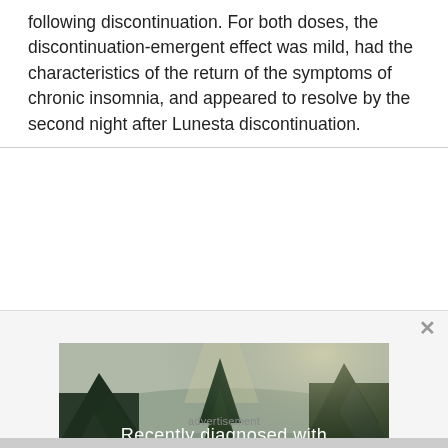following discontinuation. For both doses, the discontinuation-emergent effect was mild, had the characteristics of the return of the symptoms of chronic insomnia, and appeared to resolve by the second night after Lunesta discontinuation.
[Figure (photo): Advertisement image showing a forest landscape with a river and pine trees, with text overlay reading 'Recently diagnosed with bipolar disorder? DOWNLOAD OUR FREE EBOOK NOW.' with a close (x) button in the top right corner.]
advertisement